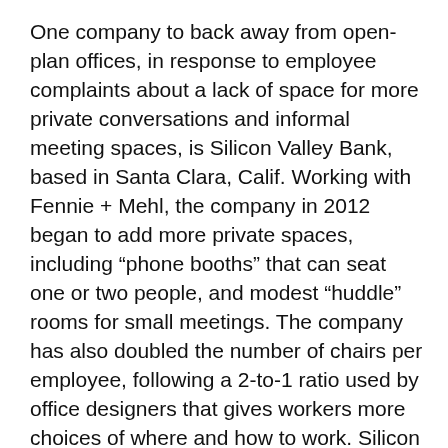One company to back away from open-plan offices, in response to employee complaints about a lack of space for more private conversations and informal meeting spaces, is Silicon Valley Bank, based in Santa Clara, Calif. Working with Fennie + Mehl, the company in 2012 began to add more private spaces, including “phone booths” that can seat one or two people, and modest “huddle” rooms for small meetings. The company has also doubled the number of chairs per employee, following a 2-to-1 ratio used by office designers that gives workers more choices of where and how to work. Silicon Valley Bank’s plan makes it possible for employees to work at their own desks or in a common area.
In the past four years, the bank has either renovated or built new offices from scratch so that 60% of its 42 locations have more private areas. The firm is now “getting positive feedback” from employees, says Tom Suro, the bank’s director of real estate workplace services.